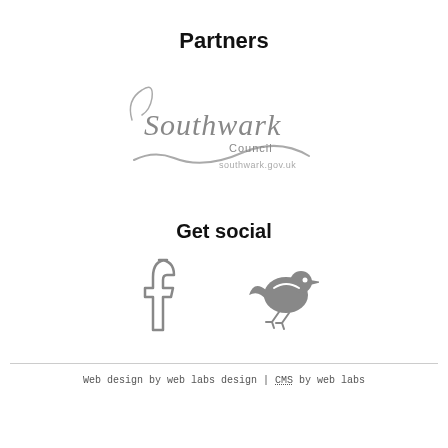Partners
[Figure (logo): Southwark Council logo with text 'Southwark Council, southwark.gov.uk' in grey]
Get social
[Figure (illustration): Facebook icon (letter f outline) and Twitter bird icon, both in grey]
Web design by web labs design | CMS by web labs